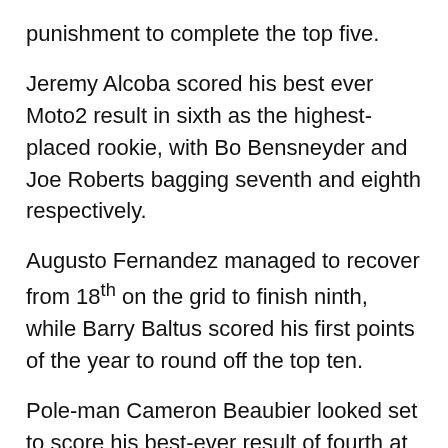punishment to complete the top five.
Jeremy Alcoba scored his best ever Moto2 result in sixth as the highest-placed rookie, with Bo Bensneyder and Joe Roberts bagging seventh and eighth respectively.
Augusto Fernandez managed to recover from 18th on the grid to finish ninth, while Barry Baltus scored his first points of the year to round off the top ten.
Pole-man Cameron Beaubier looked set to score his best-ever result of fourth at home as he managed to defeat Schrotter in the latter stages, though the American Racing pilot would heartbreakingly retire on the final tour after tucking the front of his